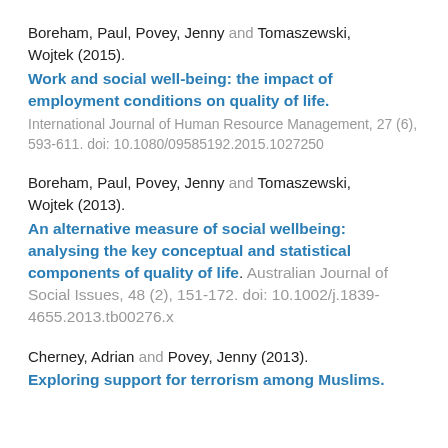Boreham, Paul, Povey, Jenny and Tomaszewski, Wojtek (2015). Work and social well-being: the impact of employment conditions on quality of life. International Journal of Human Resource Management, 27 (6), 593-611. doi: 10.1080/09585192.2015.1027250
Boreham, Paul, Povey, Jenny and Tomaszewski, Wojtek (2013). An alternative measure of social wellbeing: analysing the key conceptual and statistical components of quality of life. Australian Journal of Social Issues, 48 (2), 151-172. doi: 10.1002/j.1839-4655.2013.tb00276.x
Cherney, Adrian and Povey, Jenny (2013). Exploring support for terrorism among Muslims.